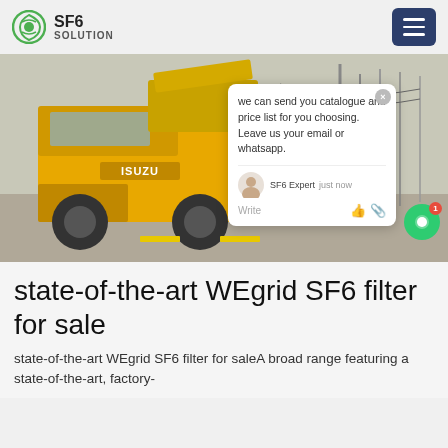SF6 SOLUTION
[Figure (photo): Yellow Isuzu truck parked at an electrical substation with high-voltage infrastructure in the background. A chat popup overlay is visible on the right side of the image with text: 'we can send you catalogue and price list for you choosing. Leave us your email or whatsapp.' Signed by SF6 Expert, just now.]
state-of-the-art WEgrid SF6 filter for sale
state-of-the-art WEgrid SF6 filter for saleA broad range featuring a state-of-the-art, factory-